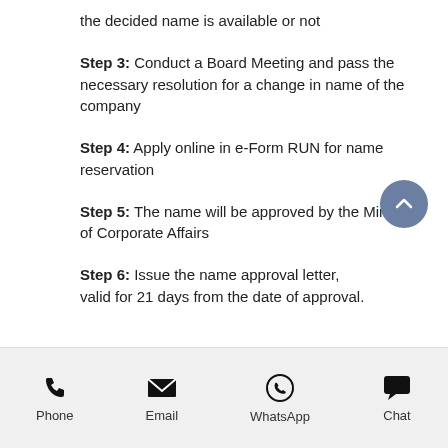the decided name is available or not
Step 3: Conduct a Board Meeting and pass the necessary resolution for a change in name of the company
Step 4: Apply online in e-Form RUN for name reservation
Step 5: The name will be approved by the Ministry of Corporate Affairs
Step 6: Issue the name approval letter, valid for 21 days from the date of approval.
Phone   Email   WhatsApp   Chat